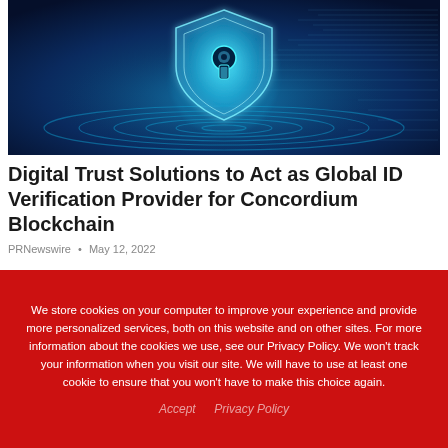[Figure (photo): Digital security concept image: glowing cyan shield with keyhole icon floating above concentric circular rings on a dark blue background with digital circuit patterns]
Digital Trust Solutions to Act as Global ID Verification Provider for Concordium Blockchain
PRNewswire • May 12, 2022
We store cookies on your computer to improve your experience and provide more personalized services, both on this website and on other sites. For more information about the cookies we use, see our Privacy Policy. We won't track your information when you visit our site. We will have to use at least one cookie to ensure that you won't have to make this choice again.
Accept   Privacy Policy